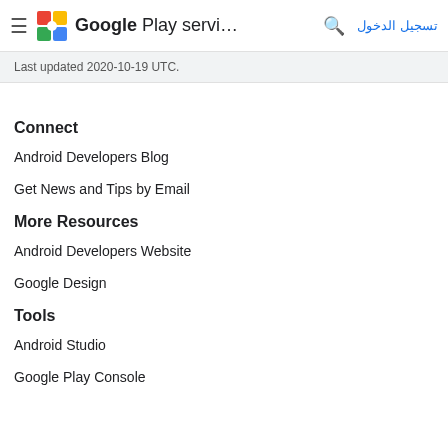Google Play servi... تسجيل الدخول
Last updated 2020-10-19 UTC.
Connect
Android Developers Blog
Get News and Tips by Email
More Resources
Android Developers Website
Google Design
Tools
Android Studio
Google Play Console